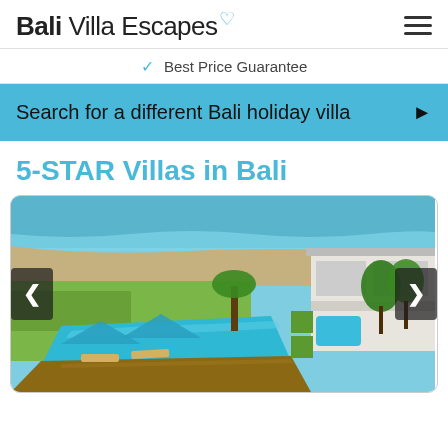Bali Villa Escapes
Best Price Guarantee
Search for a different Bali holiday villa ▶
5-STAR Villas in Bali
[Figure (photo): Aerial view of a luxury Bali villa with an infinity pool, sun loungers, tropical trees, and ocean/beach visible in the background. Navigation arrows on sides.]